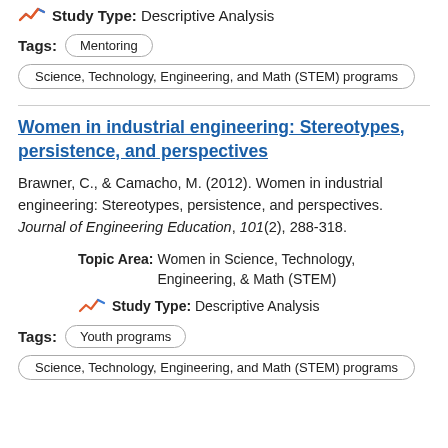Study Type: Descriptive Analysis
Tags: Mentoring
Science, Technology, Engineering, and Math (STEM) programs
Women in industrial engineering: Stereotypes, persistence, and perspectives
Brawner, C., & Camacho, M. (2012). Women in industrial engineering: Stereotypes, persistence, and perspectives. Journal of Engineering Education, 101(2), 288-318.
Topic Area: Women in Science, Technology, Engineering, & Math (STEM)
Study Type: Descriptive Analysis
Tags: Youth programs
Science, Technology, Engineering, and Math (STEM) programs